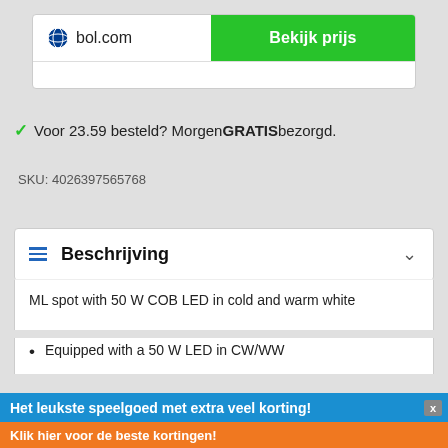[Figure (screenshot): bol.com logo with globe icon and 'Bekijk prijs' green button]
✓ Voor 23.59 besteld? Morgen GRATIS bezorgd.
SKU: 4026397565768
Beschrijving
ML spot with 50 W COB LED in cold and warm white
Equipped with a 50 W LED in CW/WW
Het leukste speelgoed met extra veel korting!